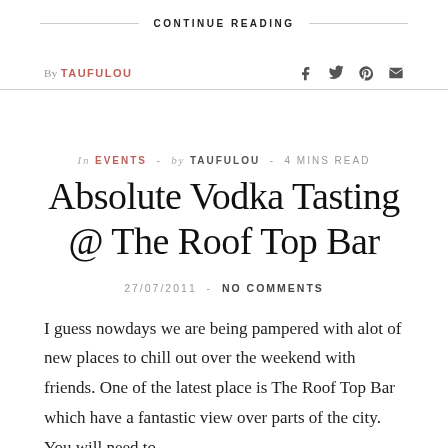CONTINUE READING
By TAUFULOU
In EVENTS - by TAUFULOU - 4 MINS READ
Absolute Vodka Tasting @ The Roof Top Bar
27/07/2011  -  NO COMMENTS
I guess nowdays we are being pampered with alot of new places to chill out over the weekend with friends. One of the latest place is The Roof Top Bar which have a fantastic view over parts of the city. You will need to